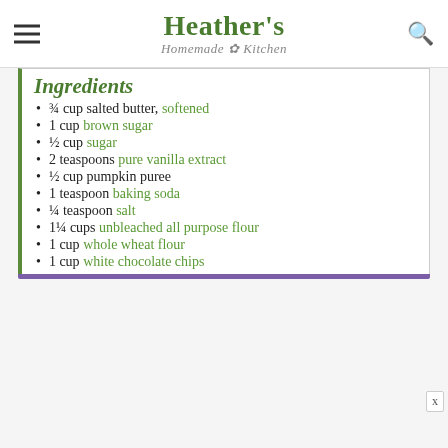Heather's Homemade Kitchen
Ingredients
¾ cup salted butter, softened
1 cup brown sugar
½ cup sugar
2 teaspoons pure vanilla extract
½ cup pumpkin puree
1 teaspoon baking soda
¼ teaspoon salt
1¼ cups unbleached all purpose flour
1 cup whole wheat flour
1 cup white chocolate chips